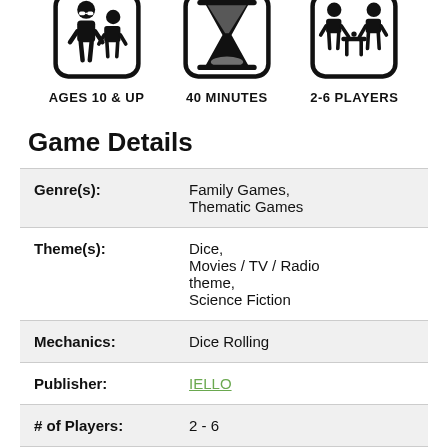[Figure (infographic): Three icons showing ages 10 & up (person with glasses and child), 40 minutes (hourglass), and 2-6 players (two people at a table)]
| Genre(s): | Family Games, Thematic Games |
| Theme(s): | Dice, Movies / TV / Radio theme, Science Fiction |
| Mechanics: | Dice Rolling |
| Publisher: | IELLO |
| # of Players: | 2 - 6 |
| Age: | 10 and up |